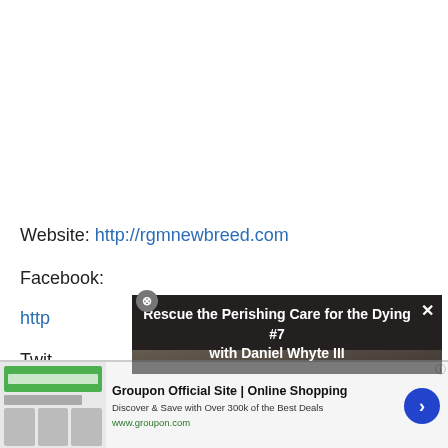Website: http://rgmnewbreed.com
Facebook:
http://...
Twitter:
Instagram:
http://...
[Figure (screenshot): Video overlay showing 'Rescue the Perishing Care for the Dying #7 with Daniel Whyte III' with a person wearing glasses visible below the title text]
[Figure (screenshot): Groupon advertisement banner: 'Groupon Official Site | Online Shopping - Discover & Save with Over 300k of the Best Deals - www.groupon.com' with images and a blue arrow button]